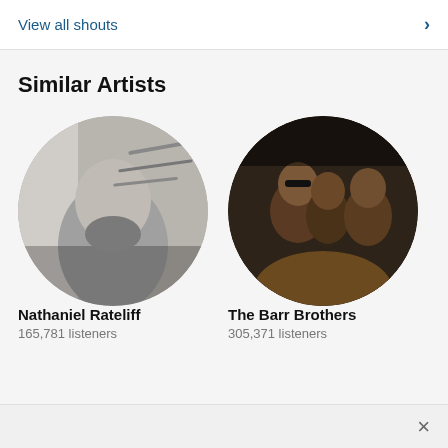View all shouts
Similar Artists
[Figure (photo): Circular portrait photo of Nathaniel Rateliff, black and white image of a bearded man looking upward with a brick wall background]
Nathaniel Rateliff
165,781 listeners
[Figure (photo): Circular portrait photo of The Barr Brothers, dark warm-toned image of a group of people]
The Barr Brothers
305,371 listeners
[Figure (photo): Partially visible circular photo of a third artist with teal/blue tones, cropped at the right edge]
Nic
349,